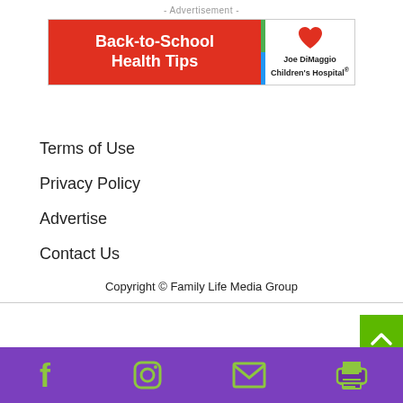- Advertisement -
[Figure (illustration): Back-to-School Health Tips advertisement banner for Joe DiMaggio Children's Hospital. Red background on left with bold white text, green/blue divider stripe, white right panel with hospital logo and name.]
Terms of Use
Privacy Policy
Advertise
Contact Us
Copyright © Family Life Media Group
[Figure (illustration): Green scroll-to-top button with upward arrow chevron, positioned at right edge. Purple footer bar with green social media icons: Facebook, Instagram, email/envelope, printer.]